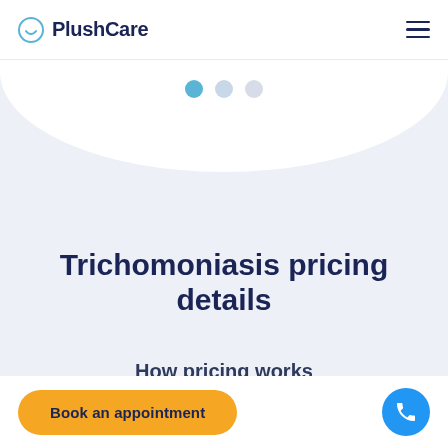PlushCare
[Figure (other): Pagination dots: three circles, first active (blue), second and third inactive (light grey)]
Trichomoniasis pricing details
How pricing works
Book an appointment